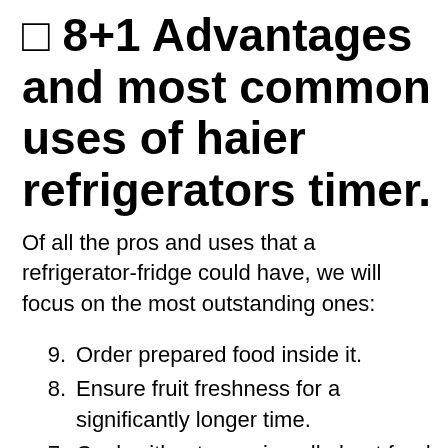⬛ 8+1 Advantages and most common uses of haier refrigerators timer.
Of all the pros and uses that a refrigerator-fridge could have, we will focus on the most outstanding ones:
9. Order prepared food inside it.
8. Ensure fruit freshness for a significantly longer time.
7. Cook without worrying all about food